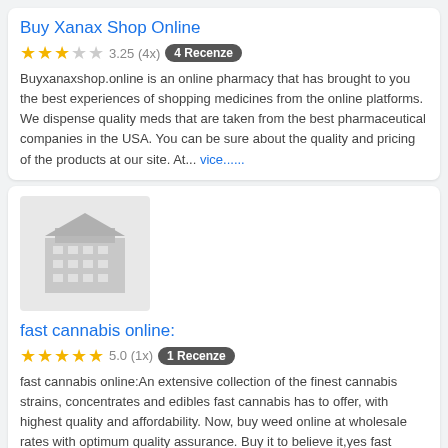Buy Xanax Shop Online
3.25 (4x) 4 Recenze
Buyxanaxshop.online is an online pharmacy that has brought to you the best experiences of shopping medicines from the online platforms. We dispense quality meds that are taken from the best pharmaceutical companies in the USA. You can be sure about the quality and pricing of the products at our site. At... vice......
[Figure (illustration): Gray building/pharmacy icon placeholder image]
fast cannabis online:
5.0 (1x) 1 Recenze
fast cannabis online:An extensive collection of the finest cannabis strains, concentrates and edibles fast cannabis has to offer, with highest quality and affordability. Now, buy weed online at wholesale rates with optimum quality assurance. Buy it to believe it,yes fast cannabis online. vice......
Loading...
Poslední hodnocení